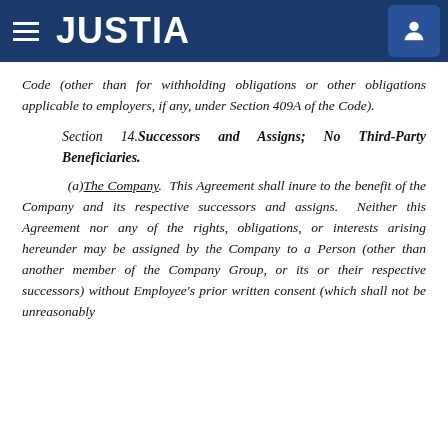JUSTIA
Code (other than for withholding obligations or other obligations applicable to employers, if any, under Section 409A of the Code).
Section 14. Successors and Assigns; No Third-Party Beneficiaries.
(a) The Company. This Agreement shall inure to the benefit of the Company and its respective successors and assigns. Neither this Agreement nor any of the rights, obligations, or interests arising hereunder may be assigned by the Company to a Person (other than another member of the Company Group, or its or their respective successors) without Employee's prior written consent (which shall not be unreasonably